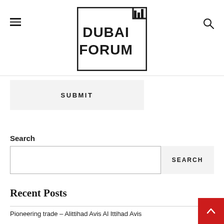DUBAI FORUM
SUBMIT
Search
SEARCH
Recent Posts
Pioneering trade – Alittihad Avis Al Ittihad Avis